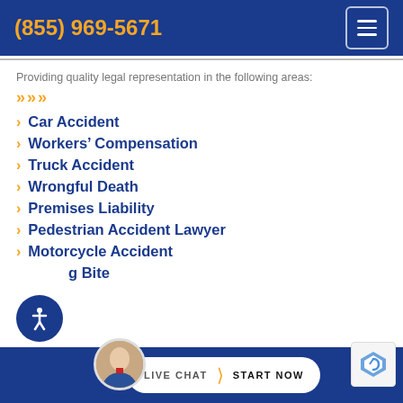(855) 969-5671
Providing quality legal representation in the following areas:
Car Accident
Workers' Compensation
Truck Accident
Wrongful Death
Premises Liability
Pedestrian Accident Lawyer
Motorcycle Accident
Dog Bite
LIVE CHAT  START NOW